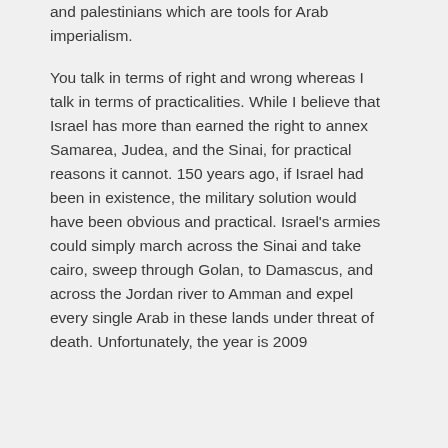and palestinians which are tools for Arab imperialism.
You talk in terms of right and wrong whereas I talk in terms of practicalities. While I believe that Israel has more than earned the right to annex Samarea, Judea, and the Sinai, for practical reasons it cannot. 150 years ago, if Israel had been in existence, the military solution would have been obvious and practical. Israel's armies could simply march across the Sinai and take cairo, sweep through Golan, to Damascus, and across the Jordan river to Amman and expel every single Arab in these lands under threat of death. Unfortunately, the year is 2009